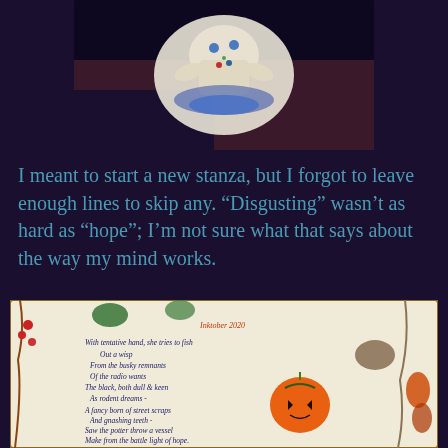[Figure (photo): A decorative illustration or sticker-like image on a dark background, partially visible at the top of the page, showing a colorful artistic figure/character against a dark purple-black background.]
I meant to start a new stanza, but I forgot to leave enough lines to skip any. “Disgusting” wasn’t as hard as “hope”; I’m not sure what that says about the way my mind works.
[Figure (photo): A handwritten poem on decorated paper with illustrations of autumn/Halloween themed items including pumpkins, berries, leaves, and vine decorations around the border. The poem text reads: 'Inktober 2020 / With tentative hand, she tries to fish / Out a wisp / From the busky remnants / Of the radio wants / The black, both dull & keen / As rodent dreams - / A fancy born of street scraps / And gnashing teeth - / Saw the potter throw a vessel / Make from the battle light of hope.']